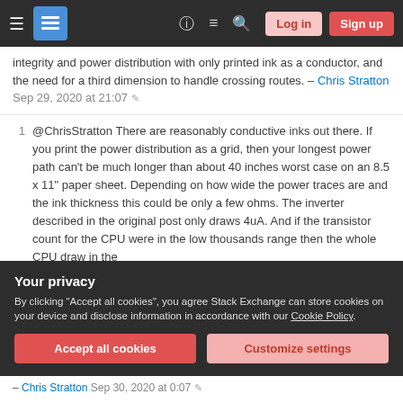Navigation bar with hamburger menu, Stack Exchange logo, icons, Log in and Sign up buttons
integrity and power distribution with only printed ink as a conductor, and the need for a third dimension to handle crossing routes. – Chris Stratton Sep 29, 2020 at 21:07
1 @ChrisStratton There are reasonably conductive inks out there. If you print the power distribution as a grid, then your longest power path can't be much longer than about 40 inches worst case on an 8.5 x 11" paper sheet. Depending on how wide the power traces are and the ink thickness this could be only a few ohms. The inverter described in the original post only draws 4uA. And if the transistor count for the CPU were in the low thousands range then the whole CPU draw in the
Your privacy
By clicking "Accept all cookies", you agree Stack Exchange can store cookies on your device and disclose information in accordance with our Cookie Policy.
– Chris Stratton Sep 30, 2020 at 0:07